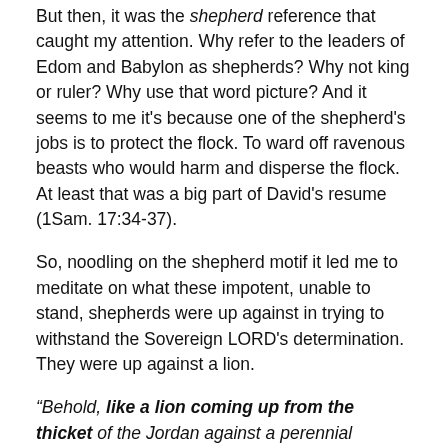But then, it was the shepherd reference that caught my attention. Why refer to the leaders of Edom and Babylon as shepherds? Why not king or ruler? Why use that word picture? And it seems to me it's because one of the shepherd's jobs is to protect the flock. To ward off ravenous beasts who would harm and disperse the flock. At least that was a big part of David's resume (1Sam. 17:34-37).
So, noodling on the shepherd motif it led me to meditate on what these impotent, unable to stand, shepherds were up against in trying to withstand the Sovereign LORD's determination. They were up against a lion.
“Behold, like a lion coming up from the thicket of the Jordan against a perennial pasture, I will suddenly make them run away from her . . . ”